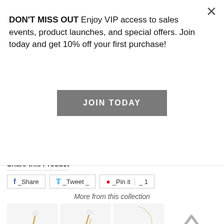DON'T MISS OUT Enjoy VIP access to sales events, product launches, and special offers. Join today and get 10% off your first purchase!
JOIN TODAY
Remove pearl jewelry when bathing, showering or swimming. Wipe clean with a soft cloth only.
Share this Product
f _Share   Tweet _   _Pin it _ 1
More from this collection
[Figure (photo): Pearl jewelry product thumbnails - three items showing pearl earrings and necklaces on white background]
Back To Top